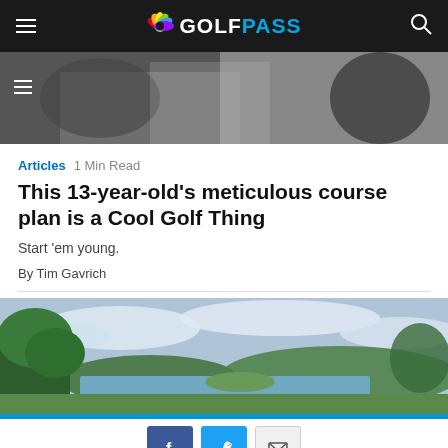GolfPass — navigation bar
[Figure (photo): Black and white photo of a golfer, partially visible]
Articles  1 Min Read
This 13-year-old's meticulous course plan is a Cool Golf Thing
Start 'em young.
By Tim Gavrich
[Figure (photo): Landscape photo showing trees, lake, hills, and cloudy sky]
Share buttons: Facebook, Twitter, Email